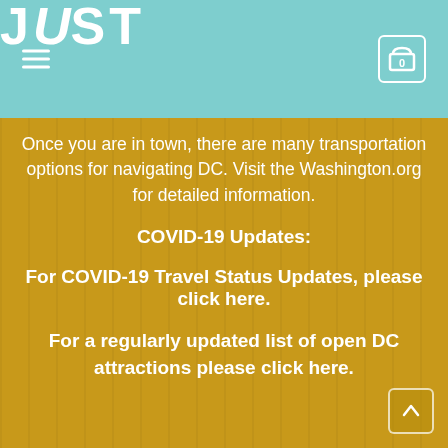JUST
Once you are in town, there are many transportation options for navigating DC. Visit the Washington.org for detailed information.
COVID-19 Updates:
For COVID-19 Travel Status Updates, please click here.
For a regularly updated list of open DC attractions please click here.